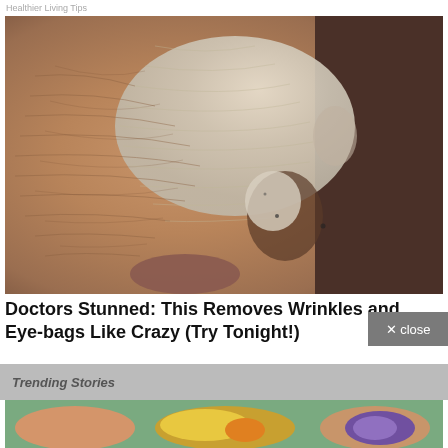Healthier Living Tips
[Figure (photo): Close-up photo of an elderly person's heavily wrinkled face with a white clay or mud mask applied, showing detailed skin texture and deep wrinkles around the cheek, nose, and lip area.]
Doctors Stunned: This Removes Wrinkles and Eye-bags Like Crazy (Try Tonight!)
× close
Trending Stories
[Figure (illustration): Medical or anatomical illustration showing cross-sections of what appear to be body parts or organs on a green background, with yellow, orange, and purple colored structures visible.]